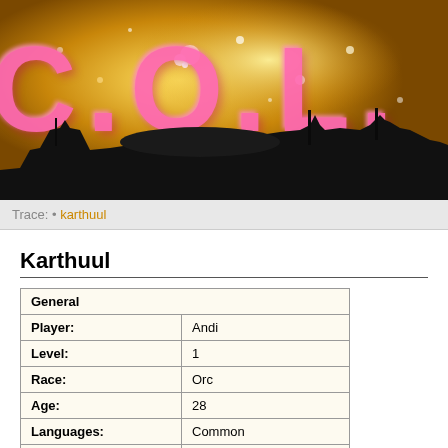[Figure (illustration): Game/wiki banner header with large pink glowing letters 'COLI' on a golden sparkly background with dark industrial/sci-fi silhouette at the bottom]
Trace: • karthuul
Karthuul
| General |  |
| Player: | Andi |
| Level: | 1 |
| Race: | Orc |
| Age: | 28 |
| Languages: | Common |
| Proficiencies: | Brawling (Unarmed) |
| Main Stats |  |